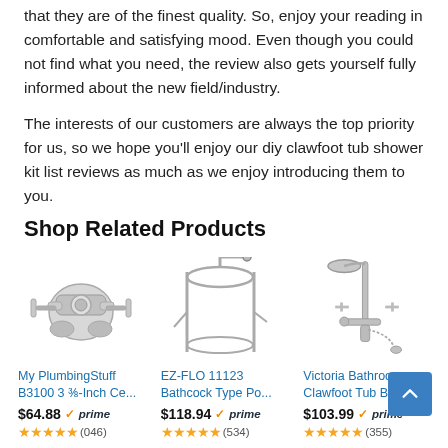that they are of the finest quality. So, enjoy your reading in comfortable and satisfying mood. Even though you could not find what you need, the review also gets yourself fully informed about the new field/industry.
The interests of our customers are always the top priority for us, so we hope you'll enjoy our diy clawfoot tub shower kit list reviews as much as we enjoy introducing them to you.
Shop Related Products
[Figure (photo): My PlumbingStuff B3100 3 3/8-Inch chrome faucet/valve product image]
[Figure (photo): EZ-FLO 11123 Bathcock Type clawfoot tub shower enclosure frame product image]
[Figure (photo): Victoria Bathroom Clawfoot Tub Bat... chrome faucet product image]
My PlumbingStuff B3100 3 ⅜-Inch Ce...
EZ-FLO 11123 Bathcock Type Po...
Victoria Bathroom Clawfoot Tub Bat...
$64.88 ✓prime (046)
$118.94 ✓prime (534)
$103.99 ✓prime (355)